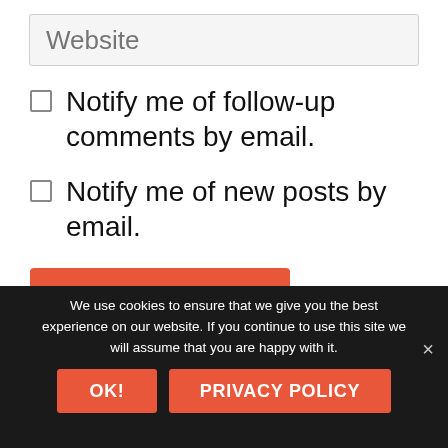Website
Notify me of follow-up comments by email.
Notify me of new posts by email.
POST COMMENT
We use cookies to ensure that we give you the best experience on our website. If you continue to use this site we will assume that you are happy with it.
OK!
PRIVACY POLICY